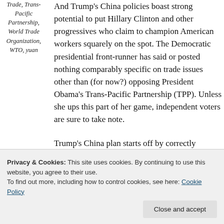Trade, Trans-Pacific Partnership, World Trade Organization, WTO, yuan
And Trump's China policies boast strong potential to put Hillary Clinton and other progressives who claim to champion American workers squarely on the spot. The Democratic presidential front-runner has said or posted nothing comparably specific on trade issues other than (for now?) opposing President Obama's Trans-Pacific Partnership (TPP). Unless she ups this part of her game, independent voters are sure to take note.
Trump's China plan starts off by correctly identifying the crux of America's China problems right away. In the process, he's
has served the interests of Wall Street insiders
Privacy & Cookies: This site uses cookies. By continuing to use this website, you agree to their use. To find out more, including how to control cookies, see here: Cookie Policy
Close and accept